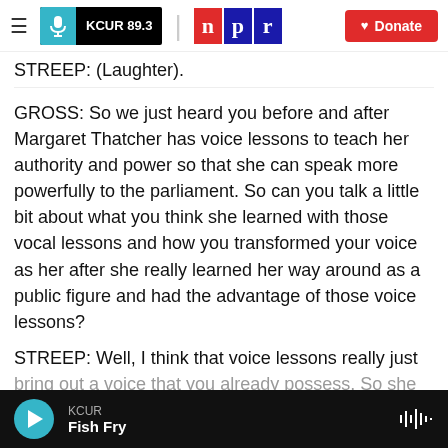KCUR 89.3 | npr | Donate
STREEP: (Laughter).
GROSS: So we just heard you before and after Margaret Thatcher has voice lessons to teach her authority and power so that she can speak more powerfully to the parliament. So can you talk a little bit about what you think she learned with those vocal lessons and how you transformed your voice as her after she really learned her way around as a public figure and had the advantage of those voice lessons?
STREEP: Well, I think that voice lessons really just bring out a voice that you already possess. So she
KCUR | Fish Fry